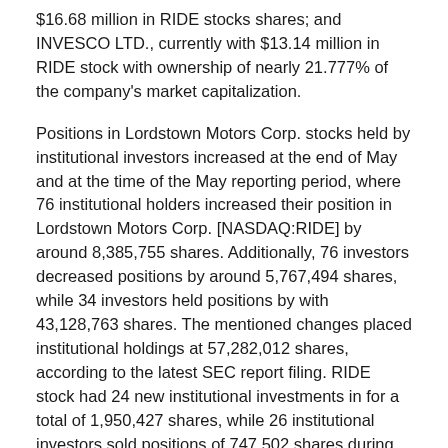$16.68 million in RIDE stocks shares; and INVESCO LTD., currently with $13.14 million in RIDE stock with ownership of nearly 21.777% of the company's market capitalization.
Positions in Lordstown Motors Corp. stocks held by institutional investors increased at the end of May and at the time of the May reporting period, where 76 institutional holders increased their position in Lordstown Motors Corp. [NASDAQ:RIDE] by around 8,385,755 shares. Additionally, 76 investors decreased positions by around 5,767,494 shares, while 34 investors held positions by with 43,128,763 shares. The mentioned changes placed institutional holdings at 57,282,012 shares, according to the latest SEC report filing. RIDE stock had 24 new institutional investments in for a total of 1,950,427 shares, while 26 institutional investors sold positions of 747,502 shares during the same period.